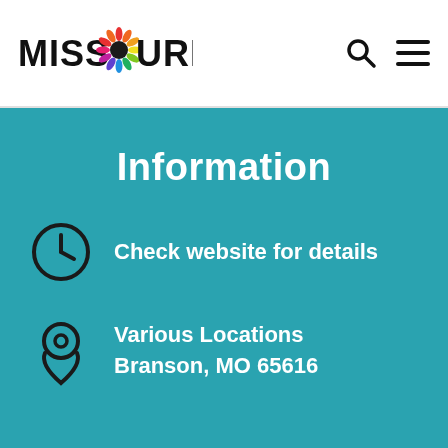MISSOURI
Information
Check website for details
Various Locations
Branson, MO 65616